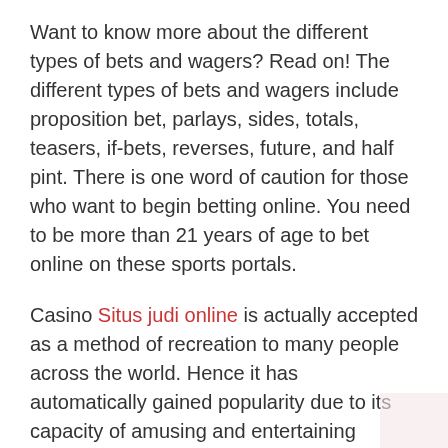Want to know more about the different types of bets and wagers? Read on! The different types of bets and wagers include proposition bet, parlays, sides, totals, teasers, if-bets, reverses, future, and half pint. There is one word of caution for those who want to begin betting online. You need to be more than 21 years of age to bet online on these sports portals.
Casino Situs judi online is actually accepted as a method of recreation to many people across the world. Hence it has automatically gained popularity due to its capacity of amusing and entertaining people. It is also accepted as a way of refreshment to many busy businessmen.